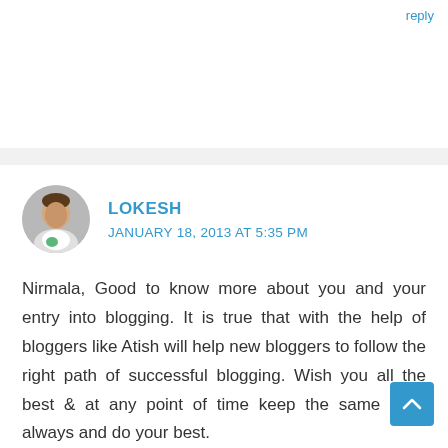reply
LOKESH
JANUARY 18, 2013 AT 5:35 PM
Nirmala, Good to know more about you and your entry into blogging. It is true that with the help of bloggers like Atish will help new bloggers to follow the right path of successful blogging. Wish you all the best & at any point of time keep the same spirit always and do your best.